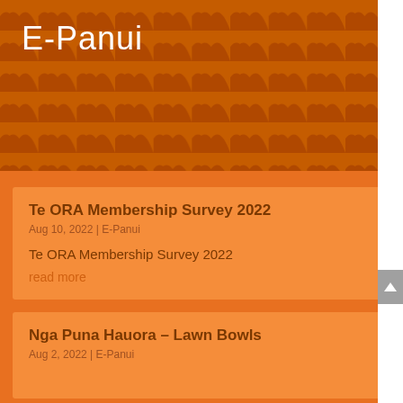E-Panui
[Figure (illustration): Orange decorative header background with repeating scallop/fish-scale pattern in darker brown-orange tones]
Te ORA Membership Survey 2022
Aug 10, 2022 | E-Panui
Te ORA Membership Survey 2022
read more
Nga Puna Hauora – Lawn Bowls
Aug 2, 2022 | E-Panui